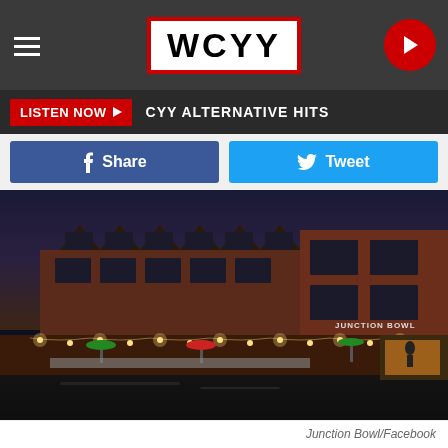WCYY
LISTEN NOW ▶  CYY ALTERNATIVE HITS
Share
Tweet
[Figure (photo): Night photo of Junction Bowl restaurant/venue building with string lights along outdoor patio, brick exterior, multiple dormers on roof, wet road in foreground]
Junction Bowl/Facebook